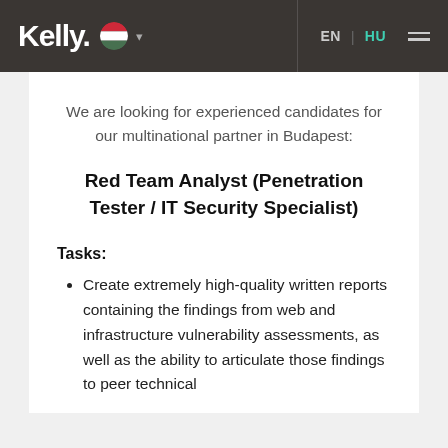Kelly | EN | HU
We are looking for experienced candidates for our multinational partner in Budapest:
Red Team Analyst (Penetration Tester / IT Security Specialist)
Tasks:
Create extremely high-quality written reports containing the findings from web and infrastructure vulnerability assessments, as well as the ability to articulate those findings to peer technical